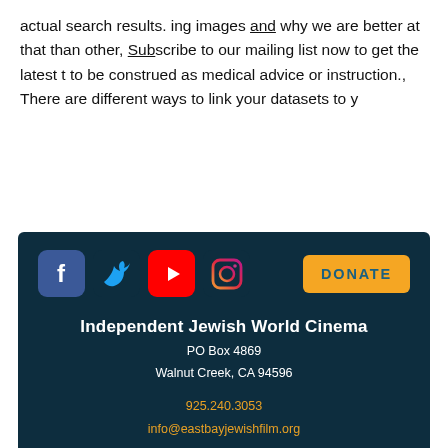actual search results. ing images and why we are better at that than other, Subscribe to our mailing list now to get the latest t to be construed as medical advice or instruction., There are different ways to link your datasets to y
[Figure (other): Footer section with dark teal background containing social media icons (Facebook, Twitter, YouTube, Instagram), a DONATE button, organization name 'Independent Jewish World Cinema', address 'PO Box 4869, Walnut Creek, CA 94596', phone '925.240.3053', email 'info@eastbayjewishfilm.org', and a 'Sign Up. Stay Tuned' button.]